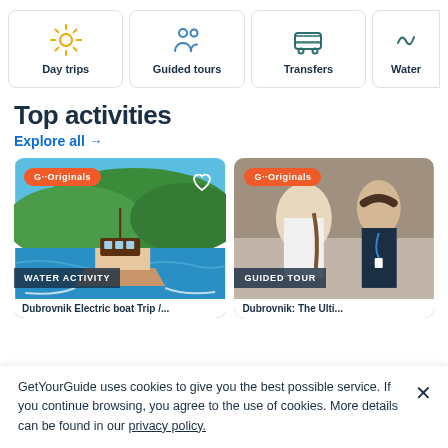[Figure (screenshot): Category navigation cards: Day trips (sun icon), Guided tours (people icon), Transfers (bus icon), Water (partially visible)]
Top activities
Explore all →
[Figure (photo): Boat on water with green hillside background, labeled WATER ACTIVITY with G Originals badge]
[Figure (photo): People on guided tour, labeled GUIDED TOUR with G Originals badge]
GetYourGuide uses cookies to give you the best possible service. If you continue browsing, you agree to the use of cookies. More details can be found in our privacy policy.